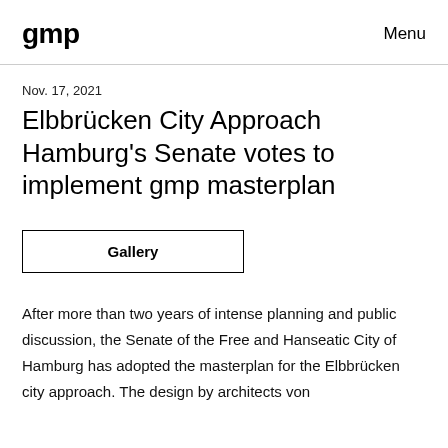gmp   Menu
Nov. 17, 2021
Elbbrücken City Approach Hamburg's Senate votes to implement gmp masterplan
Gallery
After more than two years of intense planning and public discussion, the Senate of the Free and Hanseatic City of Hamburg has adopted the masterplan for the Elbbrücken city approach. The design by architects von